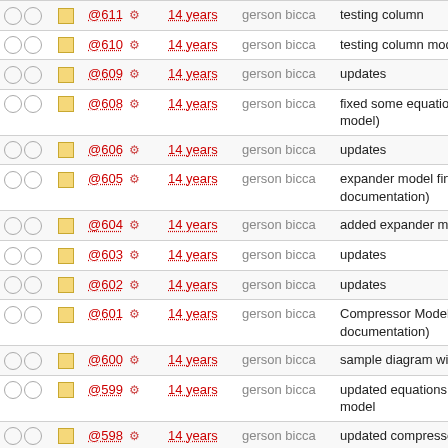|  |  | Rev | Age | Author | Description |
| --- | --- | --- | --- | --- | --- |
| ○ ○ | ☐ | @611 | 14 years | gerson bicca | testing column |
| ○ ○ | ☐ | @610 | 14 years | gerson bicca | testing column mod |
| ○ ○ | ☐ | @609 | 14 years | gerson bicca | updates |
| ○ ○ | ☐ | @608 | 14 years | gerson bicca | fixed some equation model) |
| ○ ○ | ☐ | @606 | 14 years | gerson bicca | updates |
| ○ ○ | ☐ | @605 | 14 years | gerson bicca | expander model fin documentation) |
| ○ ○ | ☐ | @604 | 14 years | gerson bicca | added expander me |
| ○ ○ | ☐ | @603 | 14 years | gerson bicca | updates |
| ○ ○ | ☐ | @602 | 14 years | gerson bicca | updates |
| ○ ○ | ☐ | @601 | 14 years | gerson bicca | Compressor Model documentation) |
| ○ ○ | ☐ | @600 | 14 years | gerson bicca | sample diagram wit |
| ○ ○ | ☐ | @599 | 14 years | gerson bicca | updated equations model |
| ○ ○ | ☐ | @598 | 14 years | gerson bicca | updated compresso sample diagram |
| ○ ○ | ☐ | @597 | 14 years | gerson bicca | added expander me |
| ○ ○ | ☐ | @596 | 14 years | gerson bicca | updates |
| ○ ○ | ☐ | @595 | 14 years | gerson bicca | updated compresso |
| ○ ○ | ☐ | @594 | 14 years | gerson bicca | added work stream |